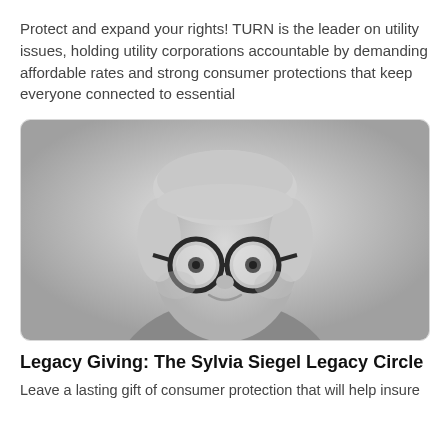Protect and expand your rights! TURN is the leader on utility issues, holding utility corporations accountable by demanding affordable rates and strong consumer protections that keep everyone connected to essential
[Figure (photo): Black and white portrait photograph of an older woman with short gray hair and large round glasses, smiling slightly, shown from shoulders up.]
Legacy Giving: The Sylvia Siegel Legacy Circle
Leave a lasting gift of consumer protection that will help insure